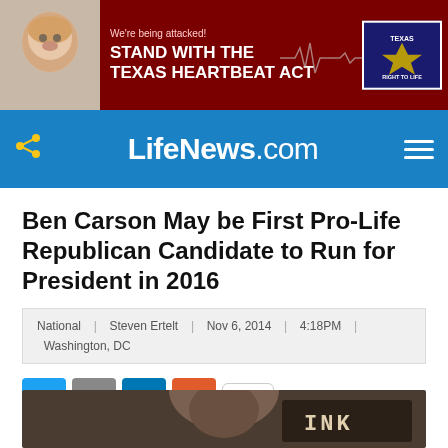[Figure (infographic): Advertisement banner: baby photo on left, dark red background with ECG line graphic, text 'We're being attacked! STAND WITH THE TEXAS HEARTBEAT ACT', Texas Right to Life logo on right]
LifeNews.com
Ben Carson May be First Pro-Life Republican Candidate to Run for President in 2016
National | Steven Ertelt | Nov 6, 2014 | 4:18PM | Washington, DC
[Figure (screenshot): Social sharing buttons: Twitter (blue bird), Email (grey envelope), LinkedIn (blue 'in'), Google+ (orange plus), and share count showing 8]
[Figure (photo): Photo of Ben Carson, an African American man, partially visible at bottom of page, with a sign reading THINK in background]